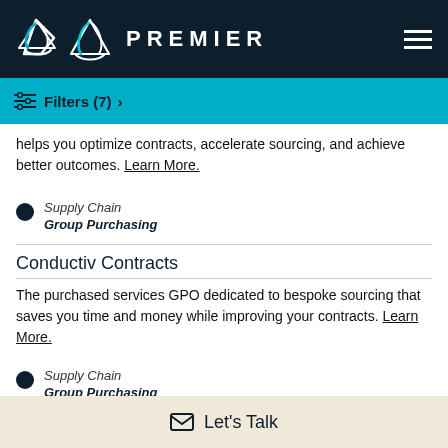PREMIER
Filters (7)
helps you optimize contracts, accelerate sourcing, and achieve better outcomes. Learn More.
Supply Chain
Group Purchasing
Conductiv Contracts
The purchased services GPO dedicated to bespoke sourcing that saves you time and money while improving your contracts. Learn More.
Supply Chain
Group Purchasing
Let's Talk